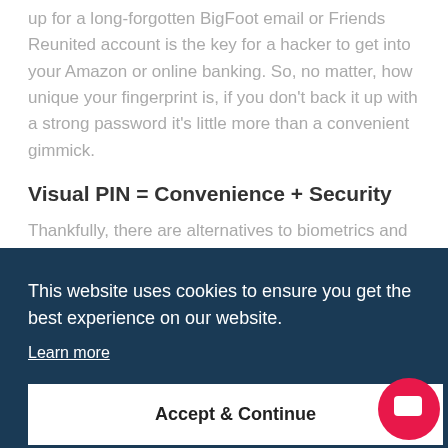up for a long-forgotten BigFoot email or Friends Reunited account is the key for a hacker to get into your Amazon or online banking. So, no matter, how unique your fingerprint is, if you don't back it up with a strong password it's little more than a convenient gimmick.
Visual PIN = Convenience + Security
Thankfully, there are alternatives to biometrics and the passwords or PINs. These solutions combine the convenience of points to create a dual-layer password that is highly secure, simple to remember and easily memorable.
This website uses cookies to ensure you get the best experience on our website.
Learn more
Accept & Continue
Unlike biometrics, it doesn't require specialised equipment to be installed